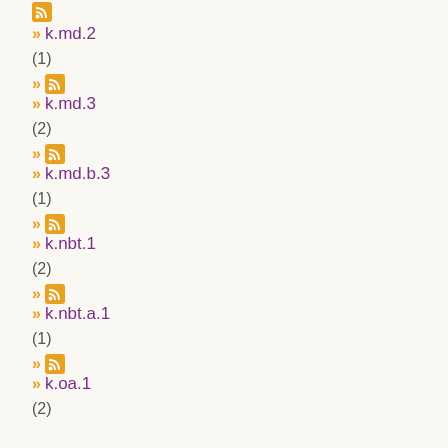k.md.2
(1)
k.md.3
(2)
k.md.b.3
(1)
k.nbt.1
(2)
k.nbt.a.1
(1)
k.oa.1
(2)